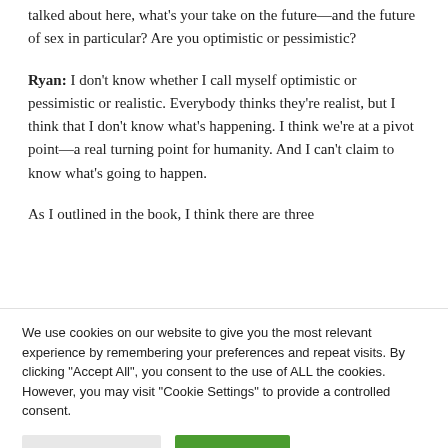talked about here, what's your take on the future—and the future of sex in particular? Are you optimistic or pessimistic?
Ryan: I don't know whether I call myself optimistic or pessimistic or realistic. Everybody thinks they're realist, but I think that I don't know what's happening. I think we're at a pivot point—a real turning point for humanity. And I can't claim to know what's going to happen.
As I outlined in the book, I think there are three
We use cookies on our website to give you the most relevant experience by remembering your preferences and repeat visits. By clicking "Accept All", you consent to the use of ALL the cookies. However, you may visit "Cookie Settings" to provide a controlled consent.